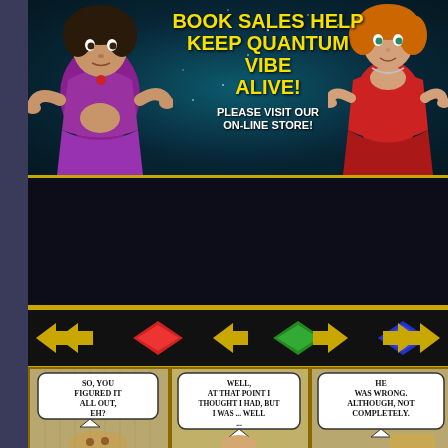[Figure (illustration): Promotional banner for Quantum Vibe webcomic store. Dark starry teal/navy background with two female characters (purple outfit left, red dress right) gesturing. Yellow text: 'BOOK SALES HELP KEEP QUANTUM VIBE ALIVE!' White text: 'PLEASE VISIT OUR ON-LINE STORE!']
[Figure (illustration): Quantum Vibe: Assimulation title banner. Purple stylized logo text 'QUANTUM VIBE' with circular design elements and 'VIBE: ASSIMULATION' in red metallic letters. Female blonde character on left, male character with arms raised on right.]
[Figure (illustration): Navigation bar with golden angle-bracket arrows (double left, single left, single right, double right) and three diamond shapes: red, green, and blue on black background.]
[Figure (illustration): Comic strip panel showing three speech bubbles: 'SO, YOU FIGURED IT ALL OUT, EH?', 'WELL, AT THAT POINT I THOUGHT I HAD, BUT I WAS ... WELL ...', 'HE WAS WRONG. ALTHOUGH, NOT COMPLETELY.' Characters partially visible at bottom of panels.]